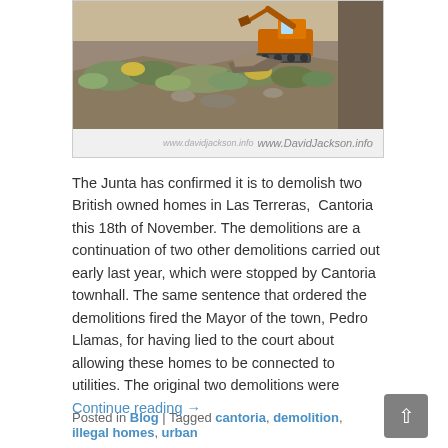[Figure (photo): A construction excavator/bulldozer on rough terrain with scrubland vegetation. Watermark reads 'www.davidjackson.info' and 'www.DavidJackson.info'.]
The Junta has confirmed it is to demolish two British owned homes in Las Terreras, Cantoria this 18th of November. The demolitions are a continuation of two other demolitions carried out early last year, which were stopped by Cantoria townhall. The same sentence that ordered the demolitions fired the Mayor of the town, Pedro Llamas, for having lied to the court about allowing these homes to be connected to utilities. The original two demolitions were
Continue reading →
Posted in Blog | Tagged cantoria, demolition, illegal homes, urban